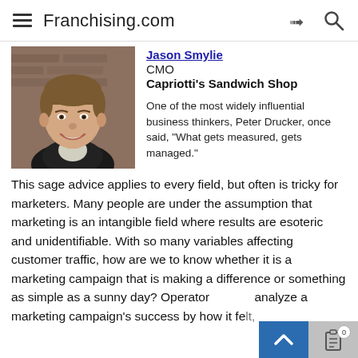Franchising.com
Jason Smylie
CMO
Capriotti's Sandwich Shop

One of the most widely influential business thinkers, Peter Drucker, once said, "What gets measured, gets managed."
[Figure (photo): Headshot photo of Jason Smylie, a young smiling man in a dark jacket and light shirt, with a brick wall background.]
This sage advice applies to every field, but often is tricky for marketers. Many people are under the assumption that marketing is an intangible field where results are esoteric and unidentifiable. With so many variables affecting customer traffic, how are we to know whether it is a marketing campaign that is making a difference or something as simple as a sunny day? Operators too o analyze a marketing campaign's success by how it felt,